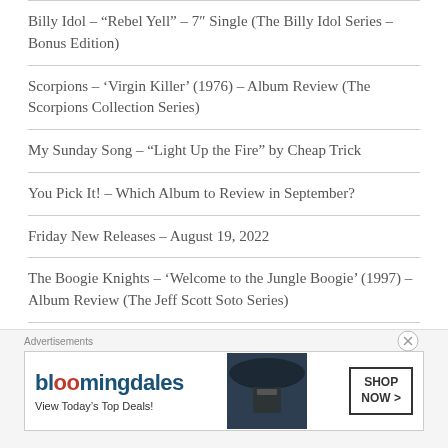Billy Idol – “Rebel Yell” – 7″ Single (The Billy Idol Series – Bonus Edition)
Scorpions – ‘Virgin Killer’ (1976) – Album Review (The Scorpions Collection Series)
My Sunday Song – “Light Up the Fire” by Cheap Trick
You Pick It! – Which Album to Review in September?
Friday New Releases – August 19, 2022
The Boogie Knights – ‘Welcome to the Jungle Boogie’ (1997) – Album Review (The Jeff Scott Soto Series)
Scorpions – ‘In Trance’ (1975) – Album Review (The Scorpions Collection Series)
Advertisements
[Figure (other): Bloomingdale's advertisement banner with logo, 'View Today's Top Deals!' tagline, image of woman in hat, and 'SHOP NOW >' button]